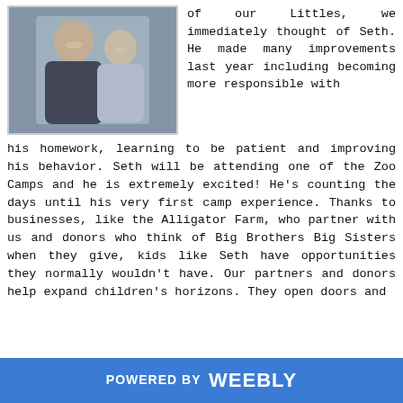[Figure (photo): Two smiling young males (an older teen and a younger child) posing together outdoors, arms around each other.]
of our Littles, we immediately thought of Seth. He made many improvements last year including becoming more responsible with his homework, learning to be patient and improving his behavior. Seth will be attending one of the Zoo Camps and he is extremely excited! He’s counting the days until his very first camp experience. Thanks to businesses, like the Alligator Farm, who partner with us and donors who think of Big Brothers Big Sisters when they give, kids like Seth have opportunities they normally wouldn’t have. Our partners and donors help expand children’s horizons. They open doors and
POWERED BY weebly